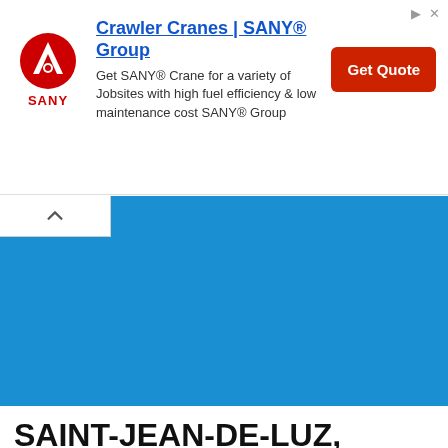[Figure (other): SANY Group advertisement banner for Crawler Cranes with logo, description text, and Get Quote button]
[Figure (map): Blue map area showing a geographic map, partially collapsed with a white tab/chevron button in the upper left]
SAINT-JEAN-DE-LUZ, FRANCE MAP, the map of Saint Jean de Luz city in